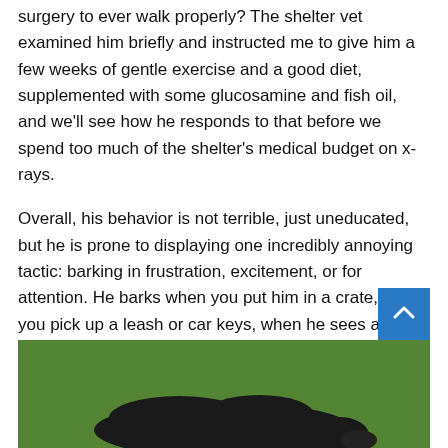surgery to ever walk properly? The shelter vet examined him briefly and instructed me to give him a few weeks of gentle exercise and a good diet, supplemented with some glucosamine and fish oil, and we'll see how he responds to that before we spend too much of the shelter's medical budget on x-rays.
Overall, his behavior is not terrible, just uneducated, but he is prone to displaying one incredibly annoying tactic: barking in frustration, excitement, or for attention. He barks when you put him in a crate, when you pick up a leash or car keys, when he sees a cat or dog out the window, or when you ask him to sit and you don't get the treat to him fast enough (in his opinion). And his bark is one of those with the pitch that can make your earwax liquefy. Ouch!
[Figure (photo): A black dog lying on green grass, photographed from above/side angle]